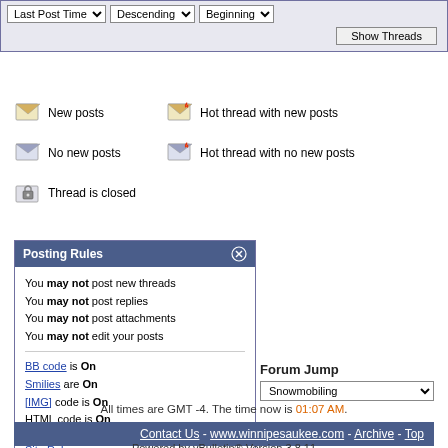Last Post Time | Descending | Beginning | Show Threads
New posts
Hot thread with new posts
No new posts
Hot thread with no new posts
Thread is closed
Posting Rules
You may not post new threads
You may not post replies
You may not post attachments
You may not edit your posts
BB code is On
Smilies are On
[IMG] code is On
HTML code is On
Site Rules
Forum Jump
Snowmobiling
All times are GMT -4. The time now is 01:07 AM.
Contact Us - www.winnipesaukee.com - Archive - Top
Powered by vBulletin® Version 3.8.11
Copyright ©2000 - 2022, vBulletin Solutions Inc.

This page was generated in 0.30212 seconds.